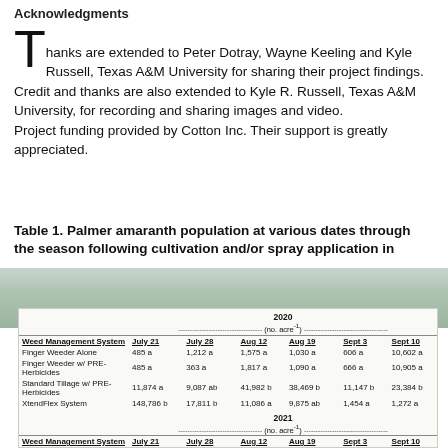Acknowledgments
Thanks are extended to Peter Dotray, Wayne Keeling and Kyle Russell, Texas A&M University for sharing their project findings. Credit and thanks are also extended to Kyle R. Russell, Texas A&M University, for recording and sharing images and video. Project funding provided by Cotton Inc. Their support is greatly appreciated.
Table 1. Palmer amaranth population at various dates through the season following cultivation and/or spray application in...
| Weed Management System | July 21 | July 28 | Aug 12 | Aug 19 | Sept 3 | Sept 10 |
| --- | --- | --- | --- | --- | --- | --- |
| (2020) |  |  |  |  |  |  |
| (no. acre⁻¹) |  |  |  |  |  |  |
| Finger Weeder Alone | 485 a | 1,212 a | 1,575 a | 1,030 a | 606 a | 10,602 a |
| Finger Weeder w/ PRE-Herbicides | 485 a | 363 a | 1,817 a | 1,090 a | 666 a | 10,905 a |
| Standard Tillage w/ PRE-Herbicides | 11,874 a | 9,087 ab | 41,982 b | 38,469 b | 11,147 b | 23,384 b |
| XtendFlex System | 148,786 b | 17,811 b | 11,086 a | 9,875 ab | 1,454 a | 1,272 a |
| (2021) |  |  |  |  |  |  |
| (no. acre⁻¹) |  |  |  |  |  |  |
| Finger Weeder Alone | 20,540 a | 23,030 ab | 2,988 a | 201,916 b | 498 a | 622 a |